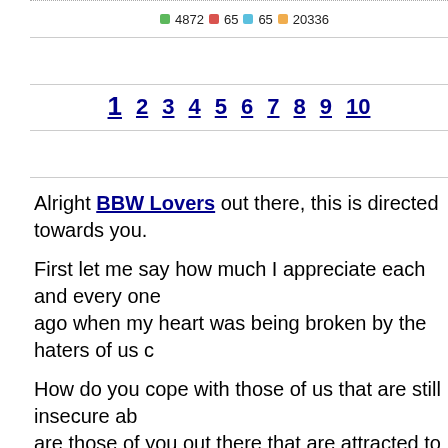4872  65  65  20336
1  2  3  4  5  6  7  8  9  10
Alright BBW Lovers out there, this is directed towards you.
First let me say how much I appreciate each and every one ago when my heart was being broken by the haters of us c
How do you cope with those of us that are still insecure ab are those of you out there that are attracted to BBWs, curv more round than curvy.
Some days I feel like I am just rockin it. I can feel the confi something if you think I've remotely got something. And ye quote a dear friend but then again, don't you guys always s
So be nice, but then again. Wh...